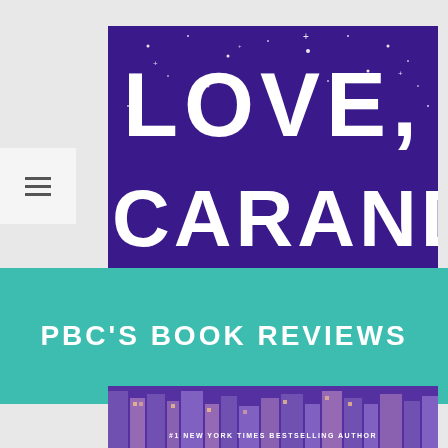[Figure (illustration): Book cover of 'Love, Jacaranda' showing purple night sky with stars and white bold title text on top portion]
PBC'S BOOK REVIEWS
[Figure (illustration): Bottom portion of book cover showing silhouette of couple on rooftop with city skyline, bunting flags, and water tower in purple tones. Text at bottom reads '#1 NEW YORK TIMES BESTSELLING AUTHOR']